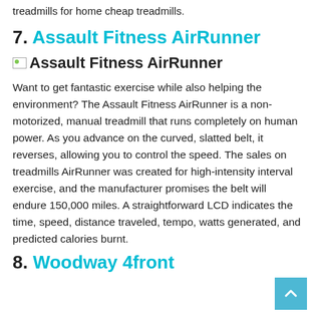treadmills for home cheap treadmills.
7. Assault Fitness AirRunner
[Figure (illustration): Broken/placeholder image icon followed by bold text 'Assault Fitness AirRunner']
Want to get fantastic exercise while also helping the environment? The Assault Fitness AirRunner is a non-motorized, manual treadmill that runs completely on human power. As you advance on the curved, slatted belt, it reverses, allowing you to control the speed. The sales on treadmills AirRunner was created for high-intensity interval exercise, and the manufacturer promises the belt will endure 150,000 miles. A straightforward LCD indicates the time, speed, distance traveled, tempo, watts generated, and predicted calories burnt.
8. Woodway 4front